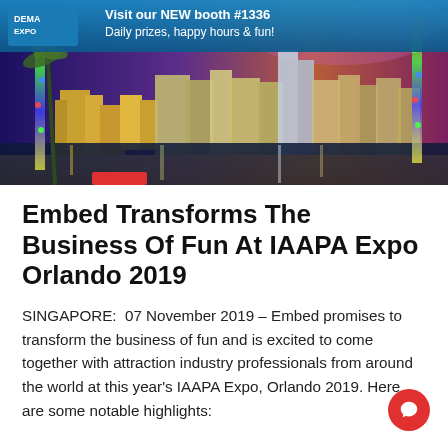[Figure (photo): IAAPA Expo promotional banner showing Orlando city skyline at night with colorful light streaks and palm trees. Header text: 'Visit our NEW booth #1336 Daily prizes, happy hours & fun!' with EXPO logo in top left corner.]
Embed Transforms The Business Of Fun At IAAPA Expo Orlando 2019
SINGAPORE:  07 November 2019 – Embed promises to transform the business of fun and is excited to come together with attraction industry professionals from around the world at this year's IAAPA Expo, Orlando 2019. Here are some notable highlights: